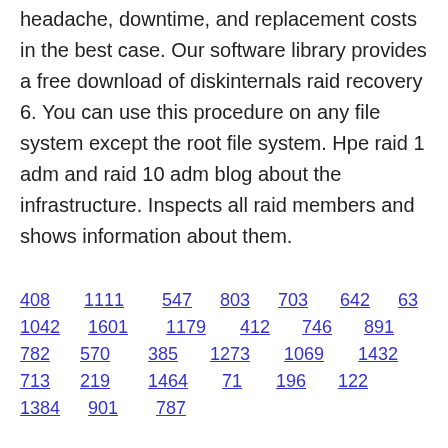headache, downtime, and replacement costs in the best case. Our software library provides a free download of diskinternals raid recovery 6. You can use this procedure on any file system except the root file system. Hpe raid 1 adm and raid 10 adm blog about the infrastructure. Inspects all raid members and shows information about them.
408  1111  547  803  703  642  63
1042  1601  1179  412  746  891
782  570  385  1273  1069  1432
713  219  1464  71  196  122
1384  901  787